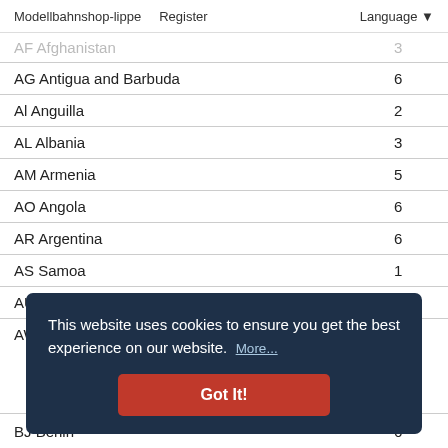Modellbahnshop-lippe   Register   Language
| Country | Value |
| --- | --- |
| AF Afghanistan | 3 |
| AG Antigua and Barbuda | 6 |
| Al Anguilla | 2 |
| AL Albania | 3 |
| AM Armenia | 5 |
| AO Angola | 6 |
| AR Argentina | 6 |
| AS Samoa | 1 |
| AU Australia | 6 |
| AW Aruba | 1 |
| AX Aland Islands | 3 |
| AZ Azerbaijan | 5 |
| BJ Benin | 6 |
This website uses cookies to ensure you get the best experience on our website. More...
Got It!